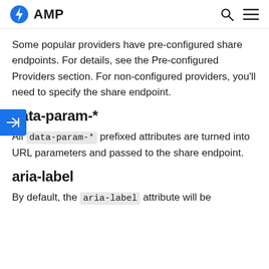AMP
Some popular providers have pre-configured share endpoints. For details, see the Pre-configured Providers section. For non-configured providers, you'll need to specify the share endpoint.
data-param-*
All data-param-* prefixed attributes are turned into URL parameters and passed to the share endpoint.
aria-label
By default, the aria-label attribute will be